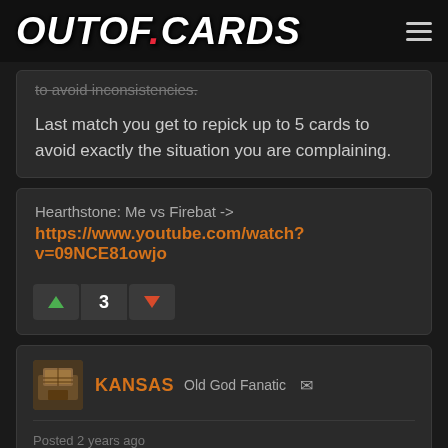OUTOF.CARDS
to avoid inconsistencies.
Last match you get to repick up to 5 cards to avoid exactly the situation you are complaining.
Hearthstone: Me vs Firebat -> https://www.youtube.com/watch?v=09NCE81owjo
3
KANSAS Old God Fanatic
Posted 2 years ago